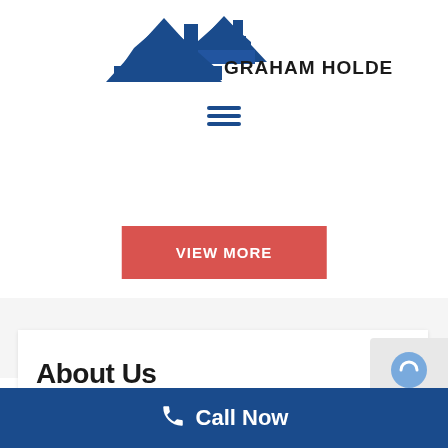[Figure (logo): Graham Holden Builders logo with blue house/roof icon and bold uppercase text]
[Figure (other): Hamburger menu icon with three dark blue horizontal lines]
VIEW MORE
About Us
Call Now